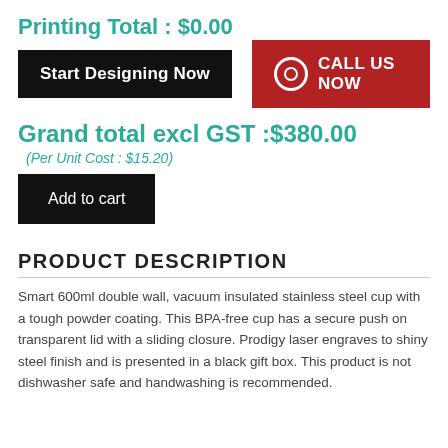Printing Total : $0.00
[Figure (other): Two buttons: 'Start Designing Now' (black) and 'CALL US NOW' (red with circle icon)]
Grand total excl GST :$380.00
(Per Unit Cost : $15.20)
[Figure (other): Black 'Add to cart' button]
PRODUCT DESCRIPTION
Smart 600ml double wall, vacuum insulated stainless steel cup with a tough powder coating. This BPA-free cup has a secure push on transparent lid with a sliding closure. Prodigy laser engraves to shiny steel finish and is presented in a black gift box. This product is not dishwasher safe and handwashing is recommended.